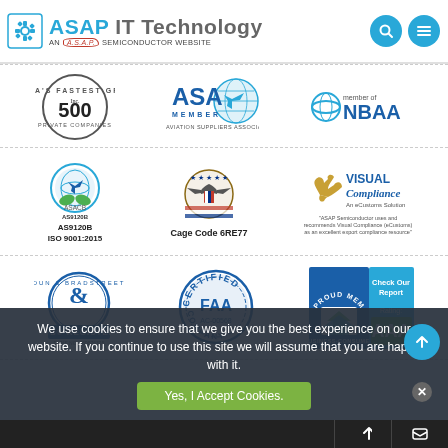ASAP IT Technology — AN A.S.A.P. SEMICONDUCTOR WEBSITE
[Figure (logo): Inc. 500 America's Fastest Growing Private Companies badge]
[Figure (logo): ASA Member Aviation Suppliers Association logo]
[Figure (logo): NBAA member of logo]
[Figure (logo): ASACB AS9120B ISO 9001:2015 certification badge]
[Figure (logo): Cage Code 6RE77 US government badge]
[Figure (logo): Visual Compliance An eCustoms Solution logo with quote]
[Figure (logo): Dun & Bradstreet D-U-N-S Registered badge, DUNS NO. 069876325]
[Figure (logo): FAA AC-00568 Certified Company badge]
[Figure (logo): Business-Consumer Alliance Proud Member AAA Rating badge]
We use cookies to ensure that we give you the best experience on our website. If you continue to use this site we will assume that you are happy with it.
Yes, I Accept Cookies.